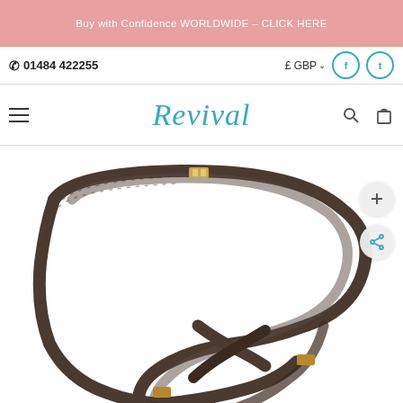Buy with Confidence WORLDWIDE – CLICK HERE
☎ 01484 422255
£ GBP
Revival
[Figure (photo): Product photo of a dark brown leather bag strap coiled on a white background, with a gold-toned clasp/hardware visible at the top center of the strap loop.]